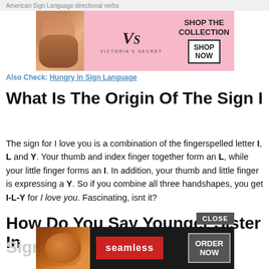American Sign Language directional verbs
[Figure (photo): Victoria's Secret advertisement banner with model, VS logo, 'SHOP THE COLLECTION' and 'SHOP NOW' button]
Also Check: Hungry In Sign Language
What Is The Origin Of The Sign I
The sign for I love you is a combination of the fingerspelled letter I, L and Y. Your thumb and index finger together form an L, while your little finger forms an I. In addition, your thumb and little finger is expressing a Y. So if you combine all three handshapes, you get I-L-Y for I love you. Fascinating, isnt it?
How Do You Say Younger Sister In Sign Language
[Figure (photo): Seamless food delivery advertisement banner with pizza image, Seamless logo in red, and 'ORDER NOW' button with CLOSE button]